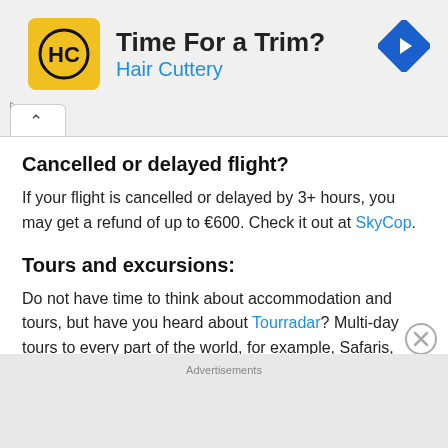[Figure (screenshot): Advertisement banner for Hair Cuttery. Shows yellow square logo with HC letters, title 'Time For a Trim?', subtitle 'Hair Cuttery' in blue, and a blue diamond turn arrow icon on the right.]
Cancelled or delayed flight?
If your flight is cancelled or delayed by 3+ hours, you may get a refund of up to €600. Check it out at SkyCop.
Tours and excursions:
Do not have time to think about accommodation and tours, but have you heard about Tourradar? Multi-day tours to every part of the world, for example, Safaris, Treks, Coach trips, Cruises, White Water Rafting, Mountain Biking,
Advertisements